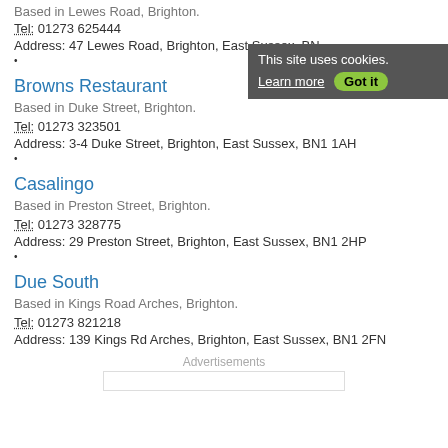Based in Lewes Road, Brighton.
Tel: 01273 625444
Address: 47 Lewes Road, Brighton, East Sussex, BN
•
[Figure (screenshot): Cookie consent banner with dark grey background reading 'This site uses cookies. Learn more Got it']
Browns Restaurant
Based in Duke Street, Brighton.
Tel: 01273 323501
Address: 3-4 Duke Street, Brighton, East Sussex, BN1 1AH
•
Casalingo
Based in Preston Street, Brighton.
Tel: 01273 328775
Address: 29 Preston Street, Brighton, East Sussex, BN1 2HP
•
Due South
Based in Kings Road Arches, Brighton.
Tel: 01273 821218
Address: 139 Kings Rd Arches, Brighton, East Sussex, BN1 2FN
Advertisements